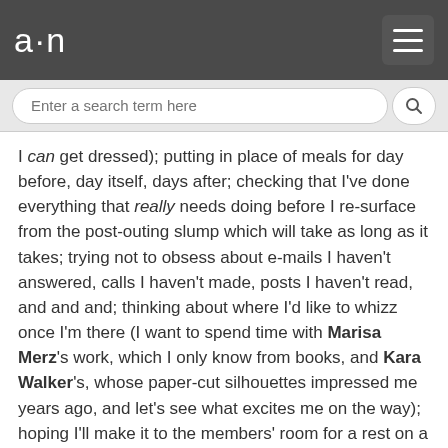a·n
I can get dressed); putting in place of meals for day before, day itself, days after; checking that I've done everything that really needs doing before I re-surface from the post-outing slump which will take as long as it takes; trying not to obsess about e-mails I haven't answered, calls I haven't made, posts I haven't read, and and and; thinking about where I'd like to whizz once I'm there (I want to spend time with Marisa Merz's work, which I only know from books, and Kara Walker's, whose paper-cut silhouettes impressed me years ago, and let's see what excites me on the way); hoping I'll make it to the members' room for a rest on a sofa with view of the Thames and some chocolate-cake, and that I'll find the right cut-off point and get home before things get too bad.
I can't book my return cab as I don't know how long my energies will last. Hope they won't trickle out too fast, need to be able to go as soon as… I'll enter the Tate with a big